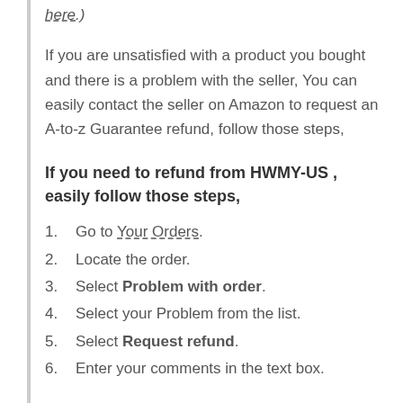here.)
If you are unsatisfied with a product you bought and there is a problem with the seller, You can easily contact the seller on Amazon to request an A-to-z Guarantee refund, follow those steps,
If you need to refund from HWMY-US , easily follow those steps,
1. Go to Your Orders.
2. Locate the order.
3. Select Problem with order.
4. Select your Problem from the list.
5. Select Request refund.
6. Enter your comments in the text box.